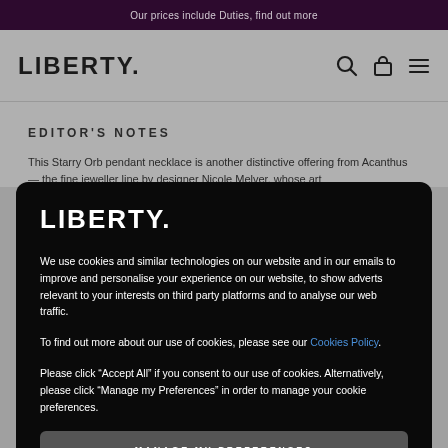Our prices include Duties, find out more
[Figure (logo): Liberty. logo in black on gray nav bar with search, bag, and hamburger menu icons]
EDITOR'S NOTES
This Starry Orb pendant necklace is another distinctive offering from Acanthus — the fine jeweller line by designer Nicole Melver, whose art
[Figure (logo): LIBERTY. logo in white on black modal overlay]
We use cookies and similar technologies on our website and in our emails to improve and personalise your experience on our website, to show adverts relevant to your interests on third party platforms and to analyse our web traffic.
To find out more about our use of cookies, please see our Cookies Policy.
Please click “Accept All” if you consent to our use of cookies. Alternatively, please click “Manage my Preferences” in order to manage your cookie preferences.
MANAGE MY PREFERENCES